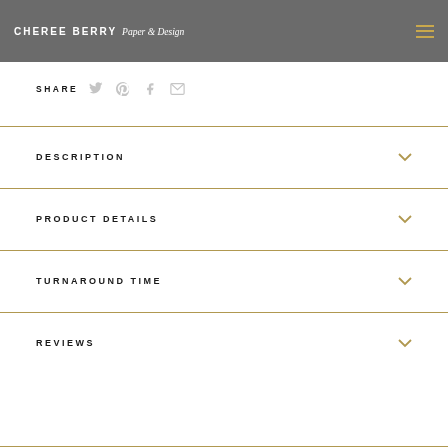CHEREE BERRY Paper & Design
SHARE
DESCRIPTION
PRODUCT DETAILS
TURNAROUND TIME
REVIEWS